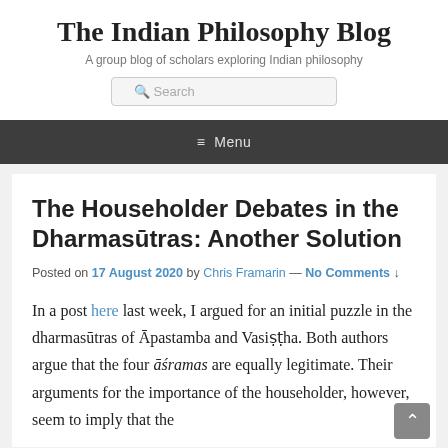The Indian Philosophy Blog
A group blog of scholars exploring Indian philosophy
☰ Menu
The Householder Debates in the Dharmasūtras: Another Solution
Posted on 17 August 2020 by Chris Framarin — No Comments ↓
In a post here last week, I argued for an initial puzzle in the dharmasūtras of Āpastamba and Vasiṣṭha. Both authors argue that the four āśramas are equally legitimate. Their arguments for the importance of the householder, however, seem to imply that the